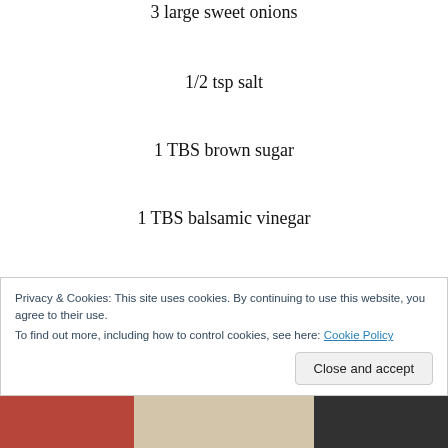3 large sweet onions
1/2 tsp salt
1 TBS brown sugar
1 TBS balsamic vinegar
1 tsp turmeric
1/4 tsp cayenne pepper
salt and pepper to taste
Privacy & Cookies: This site uses cookies. By continuing to use this website, you agree to their use.
To find out more, including how to control cookies, see here: Cookie Policy
[Figure (photo): Photo strip at bottom of page showing food/cooking images]